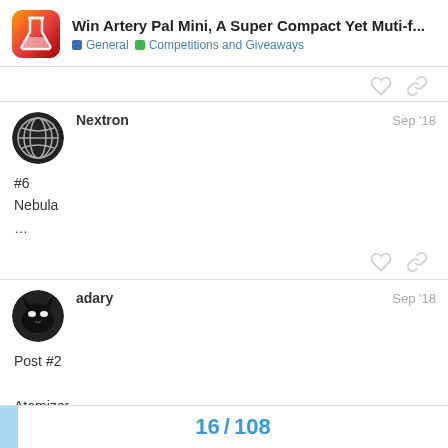Win Artery Pal Mini, A Super Compact Yet Muti-f... | General | Competitions and Giveaways
#6
Nebula
...
Nextron Sep '18
adary Sep '18
Post #2
Atomizer
16 / 108